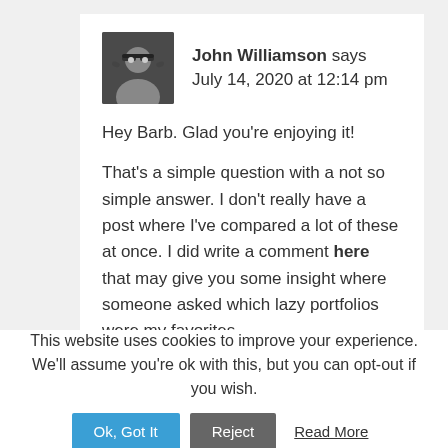John Williamson says
July 14, 2020 at 12:14 pm
Hey Barb. Glad you’re enjoying it!

That’s a simple question with a not so simple answer. I don’t really have a post where I’ve compared a lot of these at once. I did write a comment here that may give you some insight where someone asked which lazy portfolios were my favorites.
This website uses cookies to improve your experience. We’ll assume you’re ok with this, but you can opt-out if you wish.